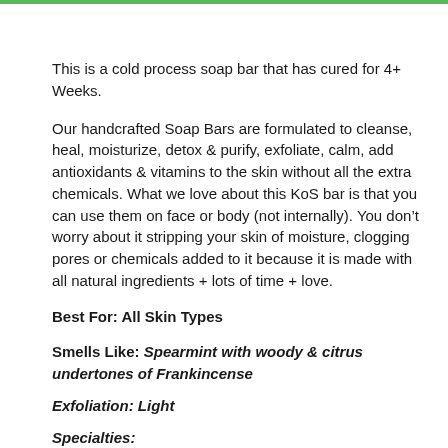This is a cold process soap bar that has cured for 4+ Weeks.
Our handcrafted Soap Bars are formulated to cleanse, heal, moisturize, detox & purify, exfoliate, calm, add antioxidants & vitamins to the skin without all the extra chemicals. What we love about this KoS bar is that you can use them on face or body (not internally). You don't worry about it stripping your skin of moisture, clogging pores or chemicals added to it because it is made with all natural ingredients + lots of time + love.
Best For: All Skin Types
Smells Like: Spearmint with woody & citrus undertones of Frankincense
Exfoliation: Light
Specialties: